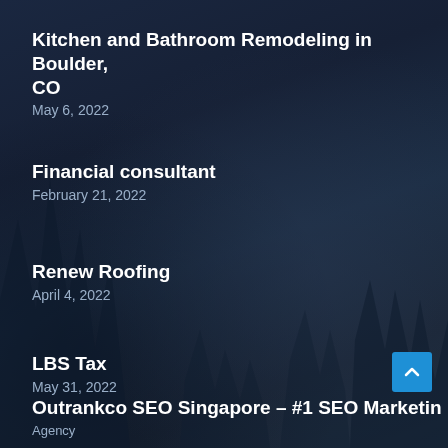Kitchen and Bathroom Remodeling in Boulder, CO
May 6, 2022
Financial consultant
February 21, 2022
Renew Roofing
April 4, 2022
LBS Tax
May 31, 2022
Outrankco SEO Singapore – #1 SEO Marketing Agency
January 11, 2022